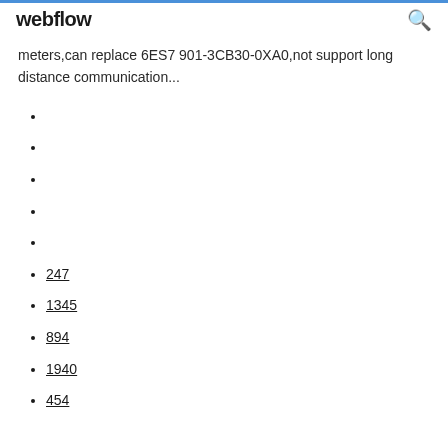webflow
meters,can replace 6ES7 901-3CB30-0XA0,not support long distance communication...
247
1345
894
1940
454